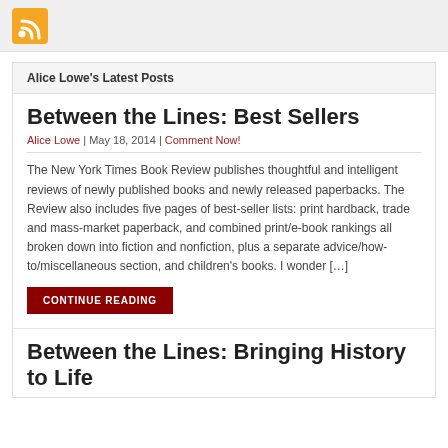[Figure (logo): RSS feed icon — orange square with white wifi/feed symbol]
Alice Lowe's Latest Posts
Between the Lines: Best Sellers
Alice Lowe | May 18, 2014 | Comment Now!
The New York Times Book Review publishes thoughtful and intelligent reviews of newly published books and newly released paperbacks. The Review also includes five pages of best-seller lists: print hardback, trade and mass-market paperback, and combined print/e-book rankings all broken down into fiction and nonfiction, plus a separate advice/how-to/miscellaneous section, and children's books. I wonder […]
CONTINUE READING
Between the Lines: Bringing History to Life